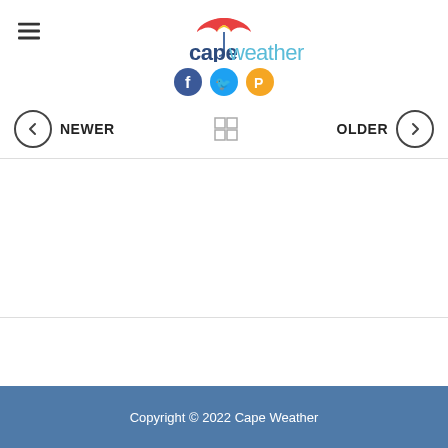capeweather
[Figure (logo): Cape Weather logo with umbrella icon in red/orange/yellow and text 'cape' in dark blue and 'weather' in light blue/teal]
[Figure (infographic): Three social media circular icons: Facebook (dark blue), Twitter (light blue), Pinterest/other (golden/yellow)]
NEWER | [grid icon] | OLDER
Copyright © 2022 Cape Weather